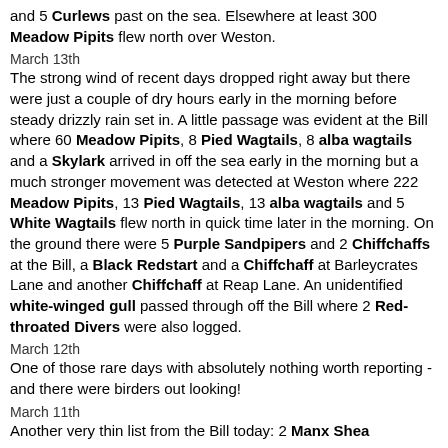and 5 Curlews past on the sea. Elsewhere at least 300 Meadow Pipits flew north over Weston.
March 13th
The strong wind of recent days dropped right away but there were just a couple of dry hours early in the morning before steady drizzly rain set in. A little passage was evident at the Bill where 60 Meadow Pipits, 8 Pied Wagtails, 8 alba wagtails and a Skylark arrived in off the sea early in the morning but a much stronger movement was detected at Weston where 222 Meadow Pipits, 13 Pied Wagtails, 13 alba wagtails and 5 White Wagtails flew north in quick time later in the morning. On the ground there were 5 Purple Sandpipers and 2 Chiffchaffs at the Bill, a Black Redstart and a Chiffchaff at Barleycrates Lane and another Chiffchaff at Reap Lane. An unidentified white-winged gull passed through off the Bill where 2 Red-throated Divers were also logged.
March 12th
One of those rare days with absolutely nothing worth reporting - and there were birders out looking!
March 11th
Another very thin list from the Bill today: 2 Manx Shearwaters...